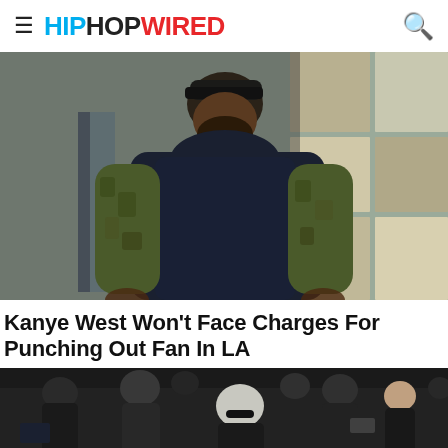HIPHOPWIRED
[Figure (photo): Kanye West wearing a dark navy/black sleeveless hoodie over a camouflage long-sleeve shirt, with a dark baseball cap, standing in front of a building with stone/marble panels]
Kanye West Won't Face Charges For Punching Out Fan In LA
[Figure (photo): Crowd scene with people in dark clothing, appears to be a public event or crowd gathering]